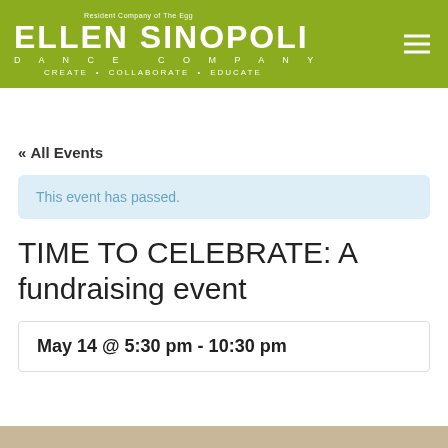[Figure (logo): Ellen Sinopoli Dance Company logo on olive/green background with hamburger menu icon]
« All Events
This event has passed.
TIME TO CELEBRATE: A fundraising event
May 14 @ 5:30 pm - 10:30 pm